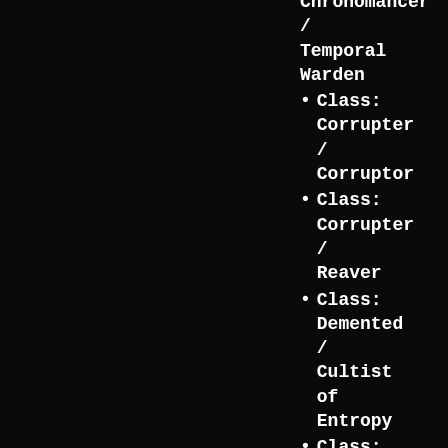Chronomancer / Temporal Warden
Class: Corrupter / Corruptor
Class: Corrupter / Reaver
Class: Demented / Cultist of Entropy
Class: Mage / Archmage
Class: